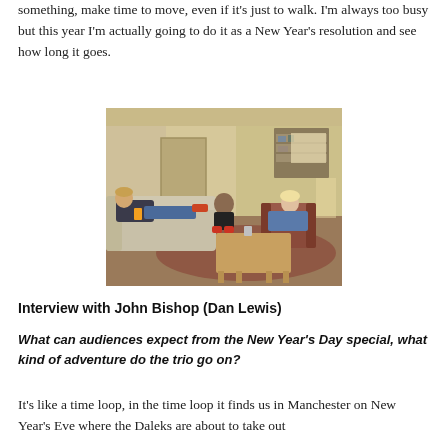something, make time to move, even if it's just to walk. I'm always too busy but this year I'm actually going to do it as a New Year's resolution and see how long it goes.
[Figure (photo): Three people relaxing in a living room. One person reclines on a sofa on the left, another sits in the center background, and a third sits in an armchair on the right near a wooden coffee table.]
Interview with John Bishop (Dan Lewis)
What can audiences expect from the New Year's Day special, what kind of adventure do the trio go on?
It's like a time loop, in the time loop it finds us in Manchester on New Year's Eve where the Daleks are about to take out